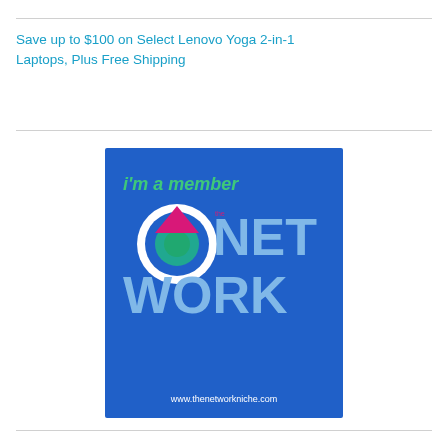Save up to $100 on Select Lenovo Yoga 2-in-1 Laptops, Plus Free Shipping
[Figure (logo): Network Niche membership logo on blue background. Text reads 'i'm a member' in green, 'NET WORK' in large light blue letters, 'NICHE' in white vertically on right side, with circular logo mark in green/pink/white, and url www.thenetworkniche.com at bottom.]